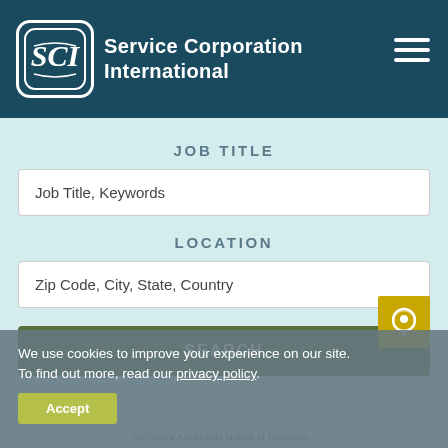[Figure (logo): Service Corporation International logo with stylized SCI monogram in white on dark teal rounded square, company name in white text to the right]
JOB TITLE
Job Title, Keywords
LOCATION
Zip Code, City, State, Country
SEARCH
We use cookies to improve your experience on our site. To find out more, read our privacy policy.
Accept
California Applicants Notice of Collectio...